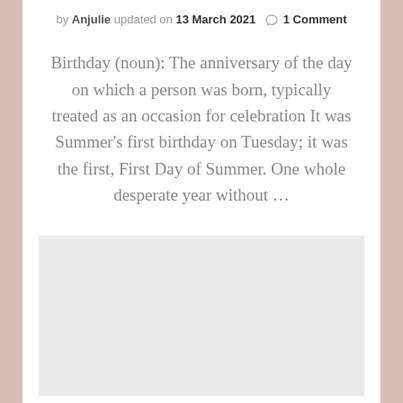by Anjulie updated on 13 March 2021 ○ 1 Comment
Birthday (noun): The anniversary of the day on which a person was born, typically treated as an occasion for celebration It was Summer's first birthday on Tuesday; it was the first, First Day of Summer. One whole desperate year without …
[Figure (other): Advertisement or placeholder block (light gray rectangle)]